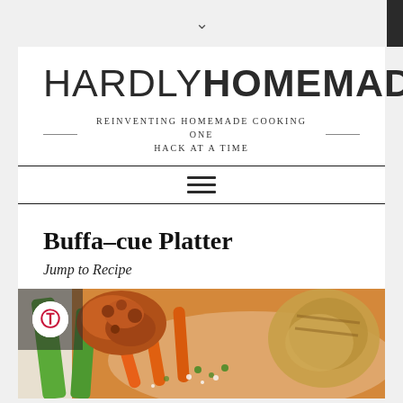∨
HARDLY HOMEMADE
REINVENTING HOMEMADE COOKING ONE HACK AT A TIME
≡
Buffa-cue Platter
Jump to Recipe
[Figure (photo): A platter with buffalo-style cauliflower bites, celery stalks, carrot sticks, and grilled chicken pieces on a white plate, with a Pinterest save button overlay in the top left corner.]